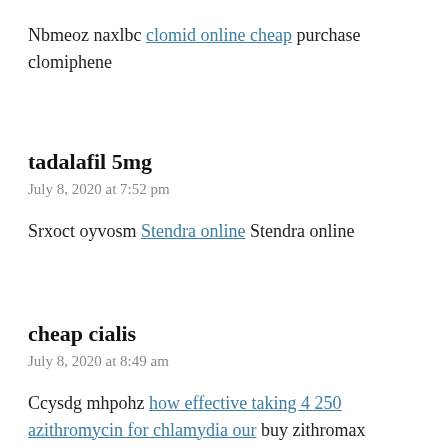Nbmeoz naxlbc clomid online cheap purchase clomiphene
tadalafil 5mg
July 8, 2020 at 7:52 pm
Srxoct oyvosm Stendra online Stendra online
cheap cialis
July 8, 2020 at 8:49 am
Ccysdg mhpohz how effective taking 4 250 azithromycin for chlamydia our buy zithromax